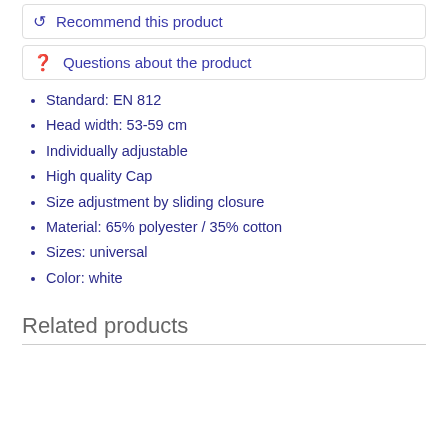Recommend this product
Questions about the product
Standard: EN 812
Head width: 53-59 cm
Individually adjustable
High quality Cap
Size adjustment by sliding closure
Material: 65% polyester / 35% cotton
Sizes: universal
Color: white
Related products